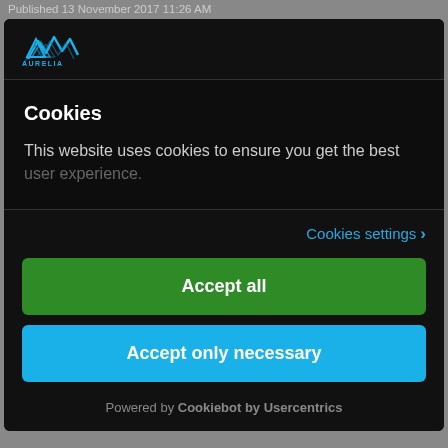Published 13 November 2017 11:26 AM
[Figure (logo): Aurelia company logo with blue triangular wave icon and AURELIA text]
Cookies
This website uses cookies to ensure you get the best user experience.
Cookies settings >
Accept all
Accept only necessary
Powered by Cookiebot by Usercentrics